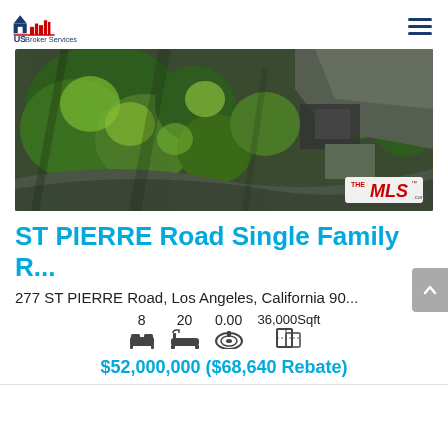US Broker Services
[Figure (photo): Aerial drone photo of a large property with trees and driveway, with THE MLS .com watermark in bottom right corner]
ST PIERRE Road Single Family R...
277 ST PIERRE Road, Los Angeles, California 90...
8  20  0.00  36,000Sqft (beds, baths, garage, sqft icons)
$52,000,000 ($68,640 Rebate)